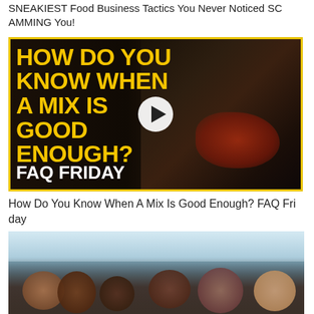SNEAKIEST Food Business Tactics You Never Noticed SCAMMING You!
[Figure (screenshot): Video thumbnail with yellow bold text reading 'HOW DO YOU KNOW WHEN A MIX IS GOOD ENOUGH? FAQ FRIDAY' overlaid on a dark image of a man playing a red guitar, with a white play button circle overlay.]
How Do You Know When A Mix Is Good Enough? FAQ Friday
[Figure (photo): A group of people outdoors, appearing to be at an outdoor gathering or event, diverse group smiling and celebrating.]